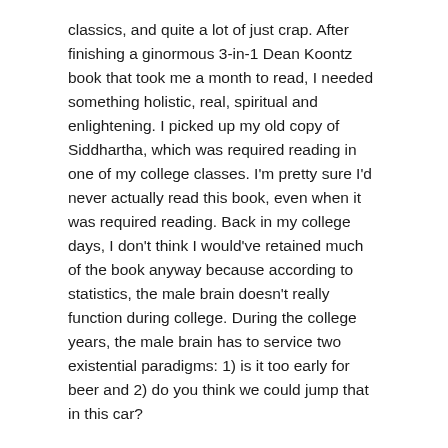classics, and quite a lot of just crap. After finishing a ginormous 3-in-1 Dean Koontz book that took me a month to read, I needed something holistic, real, spiritual and enlightening. I picked up my old copy of Siddhartha, which was required reading in one of my college classes. I'm pretty sure I'd never actually read this book, even when it was required reading. Back in my college days, I don't think I would've retained much of the book anyway because according to statistics, the male brain doesn't really function during college. During the college years, the male brain has to service two existential paradigms: 1) is it too early for beer and 2) do you think we could jump that in this car?
Herman Hesse's Siddhartha is really speaking to me right now. I'm only halfway through it now, but figured I'd recap what I've read so far...